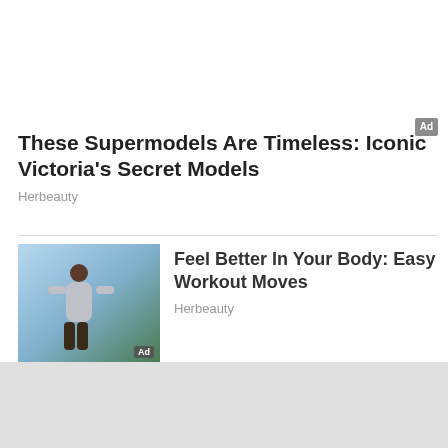These Supermodels Are Timeless: Iconic Victoria's Secret Models
Herbeauty
[Figure (photo): Woman in workout clothes outdoors, fitness photo]
Feel Better In Your Body: Easy Workout Moves
Herbeauty
[Figure (photo): Elderly actor with glasses looking at camera]
8 Of The Oldest Actors Still Working
Brainberries